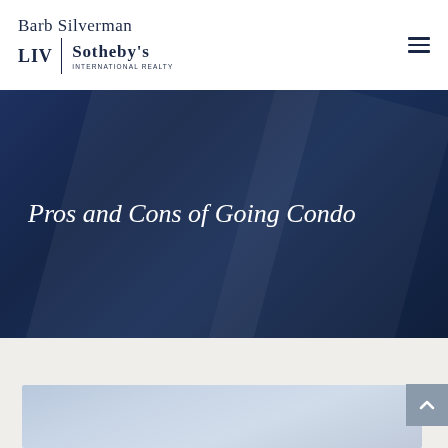[Figure (logo): Barb Silverman LIV Sotheby's International Realty logo with hamburger menu icon]
Pros and Cons of Going Condo
[Figure (photo): Partial blue-gray image visible at the bottom of the page]